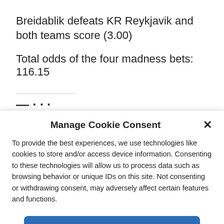Breidablik defeats KR Reykjavik and both teams score (3.00)
Total odds of the four madness bets: 116.15
Manage Cookie Consent
To provide the best experiences, we use technologies like cookies to store and/or access device information. Consenting to these technologies will allow us to process data such as browsing behavior or unique IDs on this site. Not consenting or withdrawing consent, may adversely affect certain features and functions.
Accept
Cookie Policy